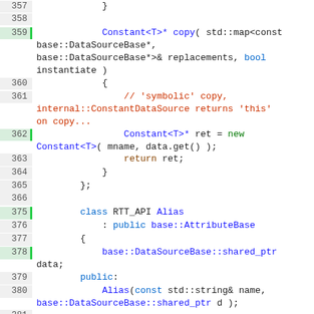[Figure (screenshot): C++ source code editor view showing lines 357-398, with syntax highlighting. Blue keywords, red-brown comments/strings, green 'new' keyword, standard monospace font on white background with line numbers in grey sidebar. Some lines highlighted with green left border.]